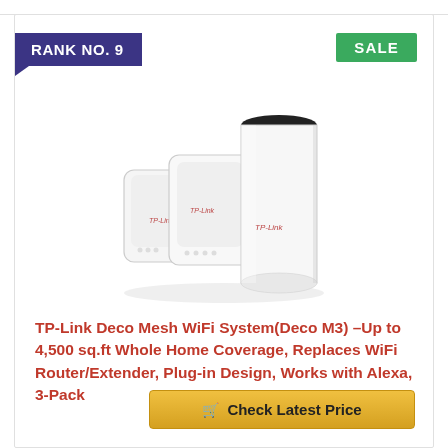RANK NO. 9
SALE
[Figure (photo): TP-Link Deco M3 mesh WiFi system showing three white devices: two flat plug-in extenders and one tall cylindrical router unit, all with TP-Link branding.]
TP-Link Deco Mesh WiFi System(Deco M3) –Up to 4,500 sq.ft Whole Home Coverage, Replaces WiFi Router/Extender, Plug-in Design, Works with Alexa, 3-Pack
Check Latest Price